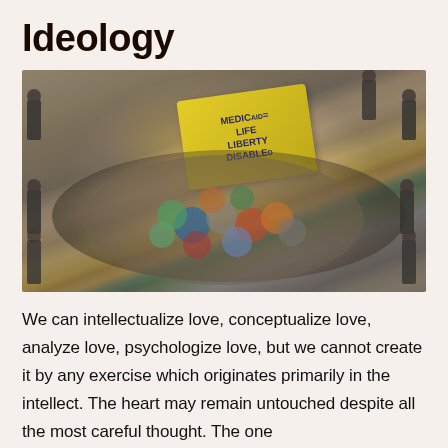Ideology
[Figure (photo): Aerial view of a disability rights protest inside a building. A group of protesters, many in wheelchairs, gather around a large yellow banner reading 'MEDICAID = LIFE LIBERTY DISABLED'. Police officers stand around the perimeter watching the demonstration.]
We can intellectualize love, conceptualize love, analyze love, psychologize love, but we cannot create it by any exercise which originates primarily in the intellect. The heart may remain untouched despite all the most careful thought. The one